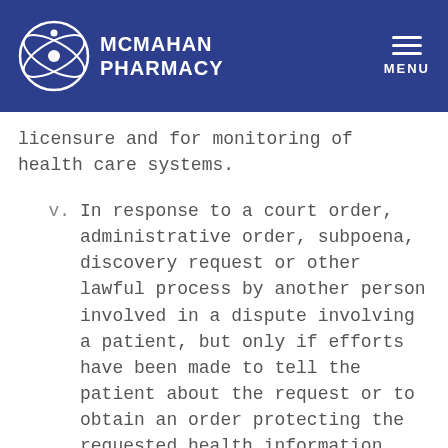McMahan Pharmacy
licensure and for monitoring of health care systems.
v. In response to a court order, administrative order, subpoena, discovery request or other lawful process by another person involved in a dispute involving a patient, but only if efforts have been made to tell the patient about the request or to obtain an order protecting the requested health information.
vi. As authorized by and as necessary to comply with laws